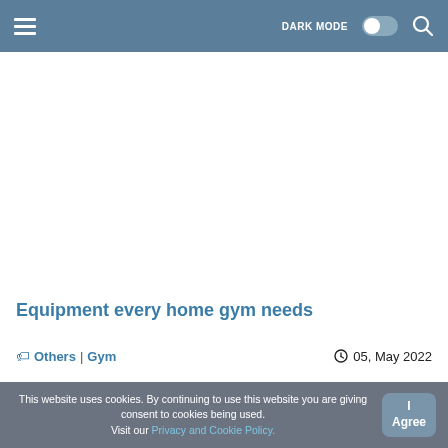≡  DARK MODE  🔍
[Figure (photo): White/blank image placeholder for article about home gym equipment]
Equipment every home gym needs
🏷 Others | Gym    🕐 05, May 2022
This website uses cookies. By continuing to use this website you are giving consent to cookies being used. Visit our Privacy and Cookie Policy.